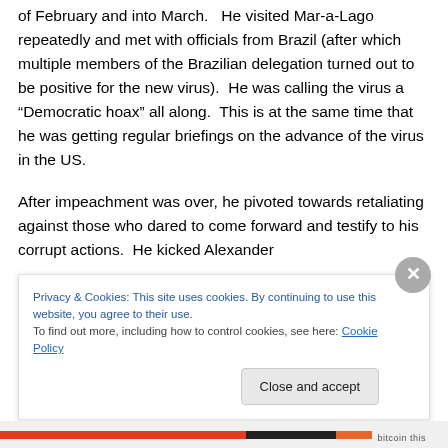of February and into March.   He visited Mar-a-Lago repeatedly and met with officials from Brazil (after which multiple members of the Brazilian delegation turned out to be positive for the new virus).  He was calling the virus a “Democratic hoax” all along.  This is at the same time that he was getting regular briefings on the advance of the virus in the US.
After impeachment was over, he pivoted towards retaliating against those who dared to come forward and testify to his corrupt actions.  He kicked Alexander
Privacy & Cookies: This site uses cookies. By continuing to use this website, you agree to their use.
To find out more, including how to control cookies, see here: Cookie Policy